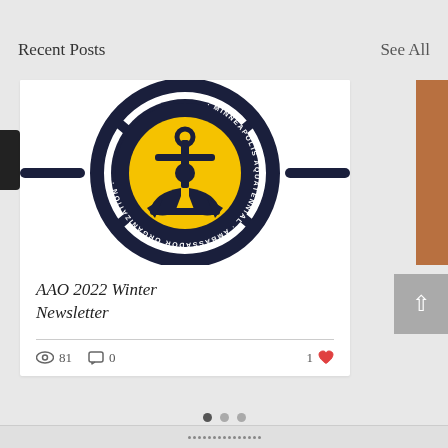Recent Posts
See All
[Figure (logo): AAO (Ambassador Organization) logo: a ship's wheel with a circular emblem in the center on a yellow background featuring an anchor, with text reading 'MINNEAPOLIS AQUATENNIAL AMBASSADOR ORGANIZATION' around the circle border. Navy/black and yellow color scheme.]
AAO 2022 Winter Newsletter
81 views · 0 comments · 1 like